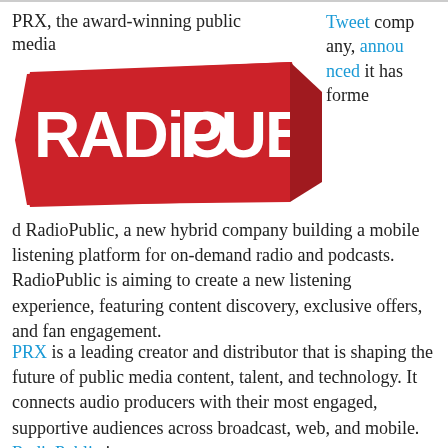PRX, the award-winning public media
Tweet company, announced it has formed RadioPublic, a new hybrid company building a mobile listening platform for on-demand radio and podcasts. RadioPublic is aiming to create a new listening experience, featuring content discovery, exclusive offers, and fan engagement.
[Figure (logo): RadioPublic logo — bold white text on red banner/ribbon shape]
PRX is a leading creator and distributor that is shaping the future of public media content, talent, and technology. It connects audio producers with their most engaged, supportive audiences across broadcast, web, and mobile. RadioPublic is a